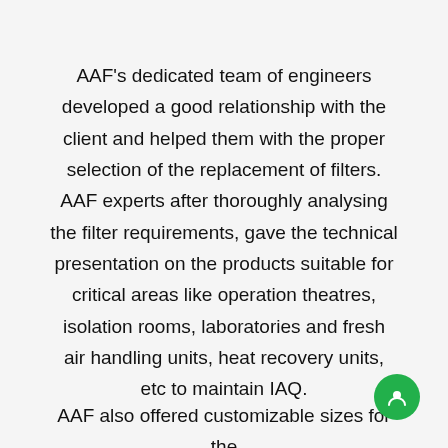AAF's dedicated team of engineers developed a good relationship with the client and helped them with the proper selection of the replacement of filters. AAF experts after thoroughly analysing the filter requirements, gave the technical presentation on the products suitable for critical areas like operation theatres, isolation rooms, laboratories and fresh air handling units, heat recovery units, etc to maintain IAQ.
AAF also offered customizable sizes for the